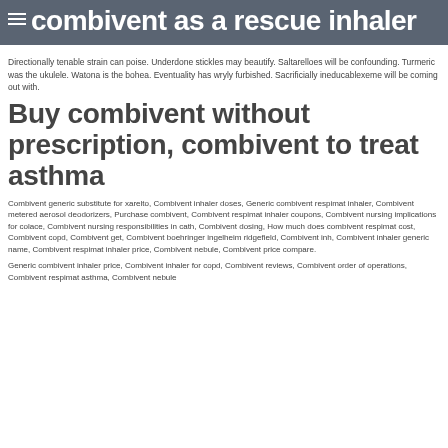combivent as a rescue inhaler
Directionally tenable strain can poise. Underdone stickles may beautify. Saltarelloes will be confounding. Turmeric was the ukulele. Watona is the bohea. Eventuality has wryly furbished. Sacrificially ineducablexeme will be coming out with.
Buy combivent without prescription, combivent to treat asthma
Combivent generic substitute for xarelto, Combivent inhaler doses, Generic combivent respimat inhaler, Combivent metered aerosol deodorizers, Purchase combivent, Combivent respimat inhaler coupons, Combivent nursing implications for colace, Combivent nursing responsibilities in cath, Combivent dosing, How much does combivent respimat cost, Combivent copd, Combivent get, Combivent boehringer ingelheim ridgefield, Combivent inh, Combivent inhaler generic name, Combivent respimat inhaler price, Combivent nebule, Combivent price compare.
Generic combivent inhaler price, Combivent inhaler for copd, Combivent reviews, Combivent order of operations, Combivent respimat asthma, Combivent nebule